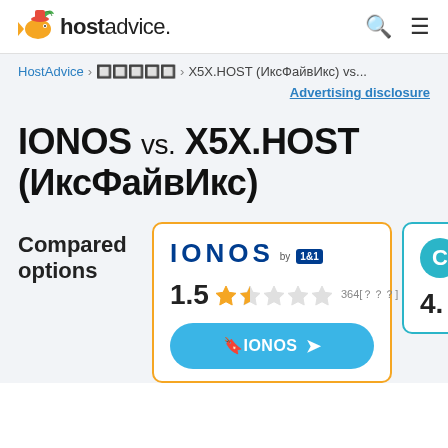hostadvice. [search] [menu]
HostAdvice > ???????????? > X5X.HOST (ИксФайвИкс) vs...
Advertising disclosure
IONOS vs. X5X.HOST (ИксФайвИкс)
Compared options
| Provider | Rating | Reviews |
| --- | --- | --- |
| IONOS by 1&1 | 1.5 | 364??? |
| (partial second provider) | 4. |  |